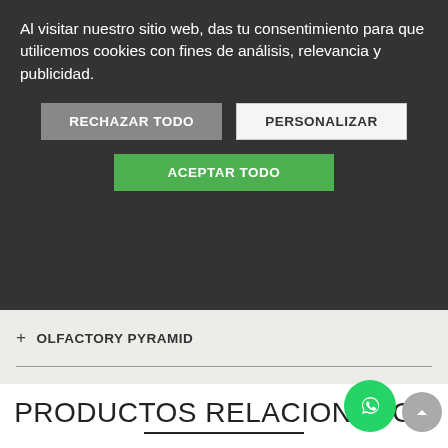Al visitar nuestro sitio web, das tu consentimiento para que utilicemos cookies con fines de análisis, relevancia y publicidad.
RECHAZAR TODO
PERSONALIZAR
ACEPTAR TODO
+ OLFACTORY PYRAMID
+ REVIEWS (0)
PRODUCTOS RELACIONADOS